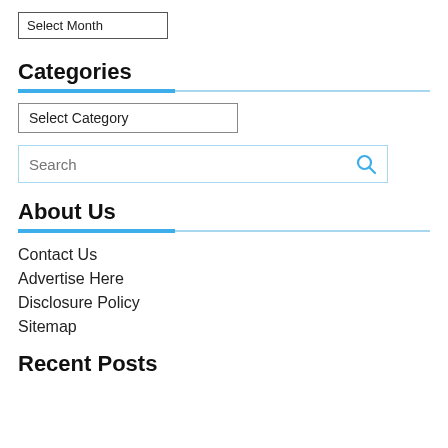Select Month (dropdown)
Categories
Select Category (dropdown)
Search (search box)
About Us
Contact Us
Advertise Here
Disclosure Policy
Sitemap
Recent Posts